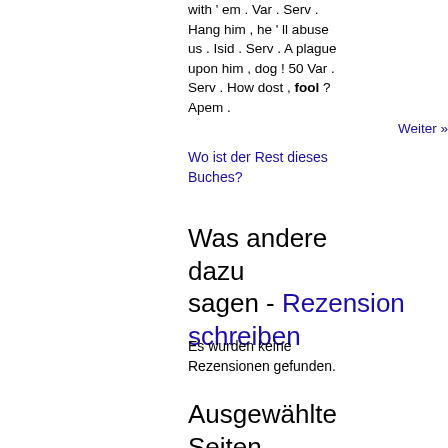with ‘em . Var . Serv . Hang him , he ' ll abuse us . Isid . Serv . A plague upon him , dog ! 50 Var . Serv . How dost , fool ? Apem .
Weiter »
Wo ist der Rest dieses Buches?
Was andere dazu sagen - Rezension schreiben
Es wurden keine Rezensionen gefunden.
Ausgewählte Seiten